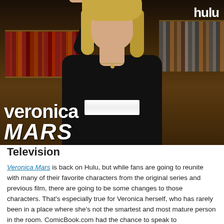[Figure (photo): Promotional photo for Veronica Mars on Hulu. A blonde woman in a black leather jacket holds up a black device (taser/phone) with one hand, sitting in front of a bookshelf. She wears a striped shirt and a gold necklace. The 'veronica MARS' title logo appears in the lower left in white bold text, and the Hulu logo appears in the upper right corner.]
Television
Veronica Mars is back on Hulu, but while fans are going to reunite with many of their favorite characters from the original series and previous film, there are going to be some changes to those characters. That’s especially true for Veronica herself, who has rarely been in a place where she’s not the smartest and most mature person in the room. ComicBook.com had the chance to speak to